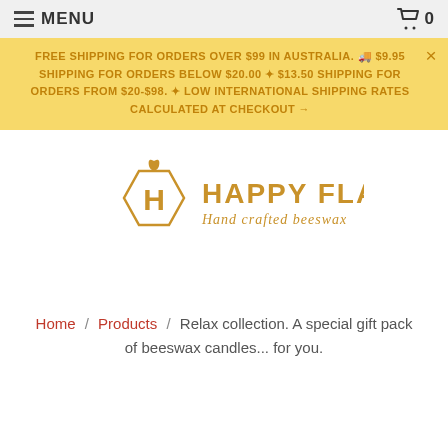☰ MENU   🛒 0
FREE SHIPPING FOR ORDERS OVER $99 IN AUSTRALIA. 🚚 $9.95 SHIPPING FOR ORDERS BELOW $20.00 ✦ $13.50 SHIPPING FOR ORDERS FROM $20-$98. ✦ LOW INTERNATIONAL SHIPPING RATES CALCULATED AT CHECKOUT →
[Figure (logo): Happy Flame hand crafted beeswax logo — hexagon with H letter and flame on top, golden/amber color, text HAPPY FLAME Hand crafted beeswax]
Home / Products / Relax collection. A special gift pack of beeswax candles... for you.